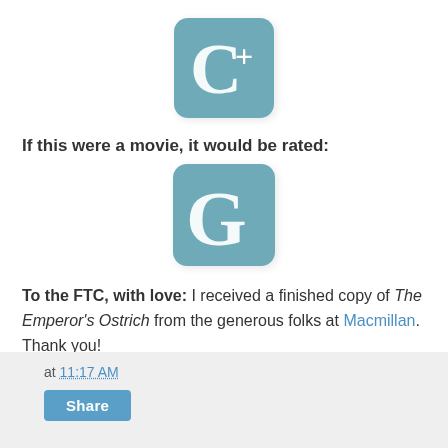[Figure (logo): C+ logo: teal/steel-blue rounded square with white C+ lettering]
If this were a movie, it would be rated:
[Figure (logo): G rating logo: teal/steel-blue rounded square with white G lettering]
To the FTC, with love:  I received a finished copy of The Emperor's Ostrich from the generous folks at Macmillan. Thank you!
at 11:17 AM  Share